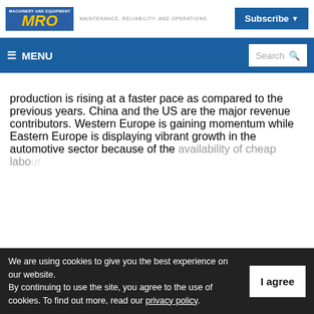MRO — MAINTENANCE, RELIABILITY, AND OPERATIONS | Subscribe | MENU | Search
production is rising at a faster pace as compared to the previous years. China and the US are the major revenue contributors. Western Europe is gaining momentum while Eastern Europe is displaying vibrant growth in the automotive sector because of the availability of cheap labour...
We are using cookies to give you the best experience on our website. By continuing to use the site, you agree to the use of cookies. To find out more, read our privacy policy.